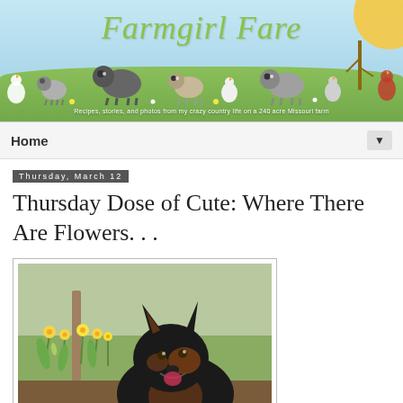[Figure (illustration): Farmgirl Fare blog header banner with cartoon sheep, chickens, trees, sun, and green hills. Cursive title 'Farmgirl Fare' in green. Subtitle text: 'Recipes, stories, and photos from my crazy country life on a 240 acre Missouri farm']
Home ▼
Thursday, March 12
Thursday Dose of Cute: Where There Are Flowers. . .
[Figure (photo): Black and brown dog (Australian Shepherd) sitting outdoors among yellow daffodil flowers with mulched garden bed and wooden fence post in background]